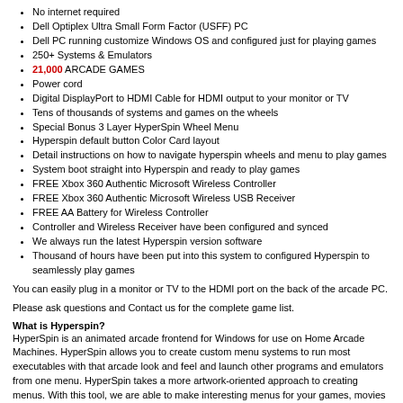No internet required
Dell Optiplex Ultra Small Form Factor (USFF) PC
Dell PC running customize Windows OS and configured just for playing games
250+ Systems & Emulators
21,000 ARCADE GAMES
Power cord
Digital DisplayPort to HDMI Cable for HDMI output to your monitor or TV
Tens of thousands of systems and games on the wheels
Special Bonus 3 Layer HyperSpin Wheel Menu
Hyperspin default button Color Card layout
Detail instructions on how to navigate hyperspin wheels and menu to play games
System boot straight into Hyperspin and ready to play games
FREE Xbox 360 Authentic Microsoft Wireless Controller
FREE Xbox 360 Authentic Microsoft Wireless USB Receiver
FREE AA Battery for Wireless Controller
Controller and Wireless Receiver have been configured and synced
We always run the latest Hyperspin version software
Thousand of hours have been put into this system to configured Hyperspin to seamlessly play games
You can easily plug in a monitor or TV to the HDMI port on the back of the arcade PC.
Please ask questions and Contact us for the complete game list.
What is Hyperspin?
HyperSpin is an animated arcade frontend for Windows for use on Home Arcade Machines. HyperSpin allows you to create custom menu systems to run most executables with that arcade look and feel and launch other programs and emulators from one menu. HyperSpin takes a more artwork-oriented approach to creating menus. With this tool, we are able to make interesting menus for your games, movies etc. Without HyperSpin you would have to individually launch each program in Windows. If you're using an emulator you would also have to find and launch each games you want to play manually. HyperSpin simplifies that